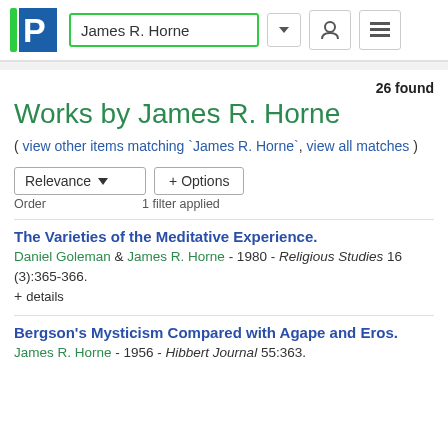James R. Horne
26 found
Works by James R. Horne
( view other items matching `James R. Horne`, view all matches )
Relevance  + Options
Order   1 filter applied
The Varieties of the Meditative Experience.
Daniel Goleman & James R. Horne - 1980 - Religious Studies 16 (3):365-366.
+ details
Bergson's Mysticism Compared with Agape and Eros.
James R. Horne - 1956 - Hibbert Journal 55:363.